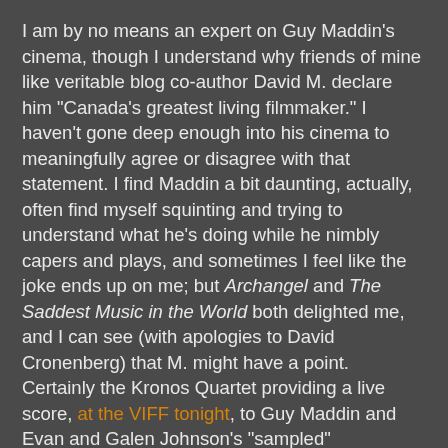I am by no means an expert on Guy Maddin's cinema, though I understand why friends of mine like veritable blog co-author David M. declare him "Canada's greatest living filmmaker." I haven't gone deep enough into his cinema to meaningfully agree or disagree with that statement. I find Maddin a bit daunting, actually, often find myself squinting and trying to understand what he's doing while he nimbly capers and plays, and sometimes I feel like the joke ends up on me; but Archangel and The Saddest Music in the World both delighted me, and I can see (with apologies to David Cronenberg) that M. might have a point. Certainly the Kronos Quartet providing a live score, at the VIFF tonight, to Guy Maddin and Evan and Galen Johnson's "sampled" reconstruction of Hitchcock's Vertigo, The Green Fog - which uses footage found in other films (or TV shows) shot in San Francisco to retell the story of Vertigo, as you can read about in the Georgia Straight and the Province - sounds like a must-see event, so I'm going, tonight, and bringing my wife, and have interviewed one of the two brothers who assisted with the film, Evan Johnson (I actually asked Guy Maddin, as well, but he's too busy with the holiday to